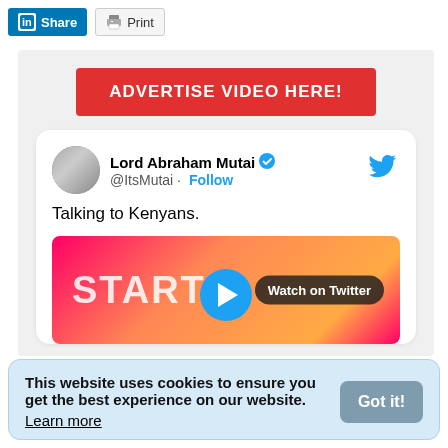[Figure (screenshot): LinkedIn Share button and Print button in toolbar]
[Figure (screenshot): Red banner reading ADVERTISE VIDEO HERE!]
[Figure (screenshot): Embedded tweet by Lord Abraham Mutai (@ItsMutai) with text 'Talking to Kenyans.' and a video thumbnail showing Watch on Twitter button]
This website uses cookies to ensure you get the best experience on our website. Learn more